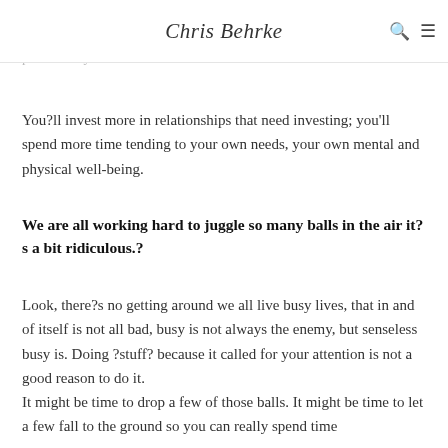Chris Behrke
often, and more precisely, you?ll trade a bunch of crap you really didn?t even want to anyway with an explosion of new effectiveness and productivity.
You?ll invest more in relationships that need investing; you'll spend more time tending to your own needs, your own mental and physical well-being.
We are all working hard to juggle so many balls in the air it?s a bit ridiculous.?
Look, there?s no getting around we all live busy lives, that in and of itself is not all bad, busy is not always the enemy, but senseless busy is. Doing ?stuff? because it called for your attention is not a good reason to do it.
It might be time to drop a few of those balls. It might be time to let a few fall to the ground so you can really spend time with the ones you care about, the ones you care most about.